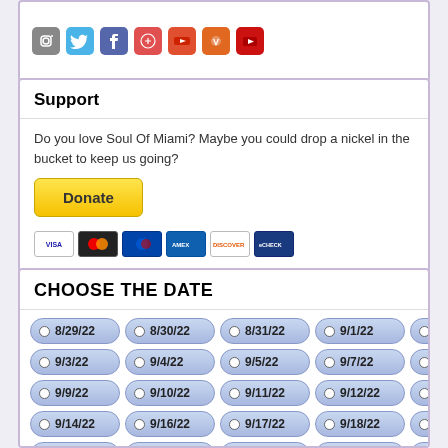[Figure (other): Social media icons row: Instagram, Twitter, Facebook, Google+, YouTube and others]
Support
Do you love Soul Of Miami? Maybe you could drop a nickel in the bucket to keep us going?
[Figure (other): PayPal Donate button with payment icons: Visa, Mastercard, Maestro, American Express, Discover, eCheque]
CHOOSE THE DATE
8/29/22
8/30/22
8/31/22
9/1/22
9/2/22
9/3/22
9/4/22
9/5/22
9/7/22
9/8/22
9/9/22
9/10/22
9/11/22
9/12/22
9/13/22
9/14/22
9/16/22
9/17/22
9/18/22
9/19/22
9/20/22
9/21/22
9/22/22
9/23/22
9/24/22
9/25/22
9/26/22
9/27/22
9/28/22
9/29/22